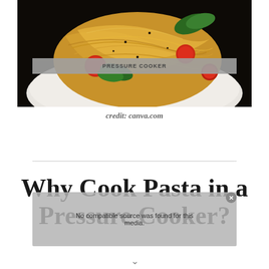[Figure (photo): A plate of spaghetti pasta with cherry tomatoes and fresh basil leaves on a white plate, viewed from above/side angle with dark background]
credit: canva.com
Why Cook Pasta in a Pressure Cooker?